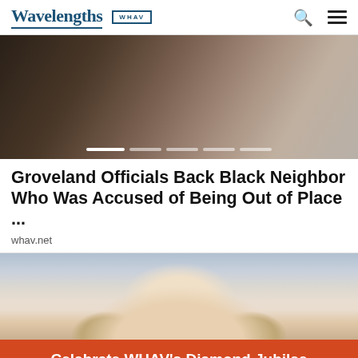Wavelengths | WHAV
[Figure (photo): Hero image showing a blurred person in background]
Groveland Officials Back Black Neighbor Who Was Accused of Being Out of Place ...
whav.net
[Figure (photo): Close-up of a woman's face with red/auburn hair and blue-gray background]
Celebrate WHAV's Diamond Jubilee
Show More